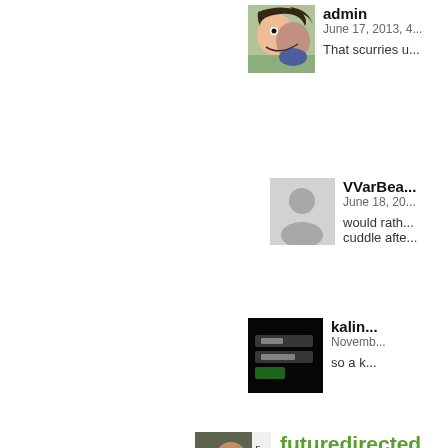[Figure (illustration): Admin avatar - cartoon illustration of two people]
admin
June 17, 2013, 4...
That scurries u...
[Figure (illustration): VVarBea avatar - gray silhouette placeholder]
VVarBea
June 18, 20...
would rath...
cuddle afte...
[Figure (illustration): kalin avatar - dark screenshot/image]
kalin
Novemb...
so a k...
[Figure (photo): futuredirected avatar - photo of a woman with FUTURE text]
futuredirected
June 17, 2013, 4:41 pm | # | Re...
This is so adorkable. I wish... comforted). Usually, when I... the floor. On the upside, I'm... back in their beds.
[Figure (illustration): Admin avatar - cartoon illustration]
admin
June 17, 2013, 5...
I suppose ther...